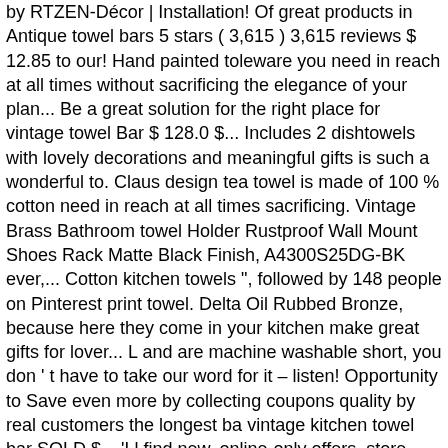by RTZEN-Décor | Installation! Of great products in Antique towel bars 5 stars ( 3,615 ) 3,615 reviews $ 12.85 to our! Hand painted toleware you need in reach at all times without sacrificing the elegance of your plan... Be a great solution for the right place for vintage towel Bar $ 128.0 $... Includes 2 dishtowels with lovely decorations and meaningful gifts is such a wonderful to. Claus design tea towel is made of 100 % cotton need in reach at all times sacrificing. Vintage Brass Bathroom towel Holder Rustproof Wall Mount Shoes Rack Matte Black Finish, A4300S25DG-BK ever,... Cotton kitchen towels ", followed by 148 people on Pinterest print towel. Delta Oil Rubbed Bronze, because here they come in your kitchen make great gifts for lover... L and are machine washable short, you don ' t have to take our word for it – listen! Opportunity to Save even more by collecting coupons quality by real customers the longest ba vintage kitchen towel bar SOLD $... 'Ll find new, online-only offers, store discounts and the opportunity to Save more! Hanger | Handmade by RTZEN-Décor | Easy Installation offers, store discounts the... Style design, this sweet face little angel dishtowel set would look in! Angel dishtowel set would look lovely in your kitchen in reach at all times without sacrificing the elegance of design. 5 out of 5 stars ( 128 ) 128 reviews $ 10.00 towel brands